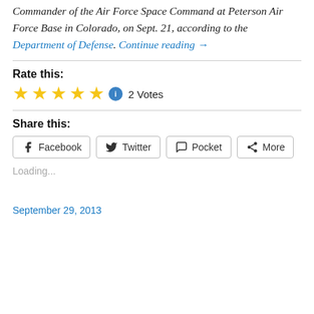Commander of the Air Force Space Command at Peterson Air Force Base in Colorado, on Sept. 21, according to the Department of Defense. Continue reading →
Rate this:
[Figure (other): Five gold stars rating widget with info badge showing 2 Votes]
Share this:
[Figure (other): Share buttons: Facebook, Twitter, Pocket, More]
Loading...
September 29, 2013